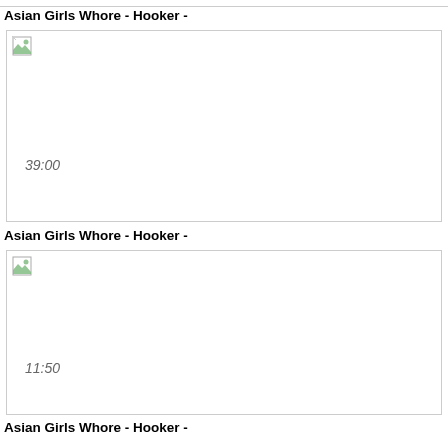[Figure (screenshot): Top border line at top of page]
Asian Girls Whore - Hooker -
[Figure (screenshot): Video thumbnail placeholder with broken image icon and duration 39:00]
Asian Girls Whore - Hooker -
[Figure (screenshot): Video thumbnail placeholder with broken image icon and duration 11:50]
Asian Girls Whore - Hooker -